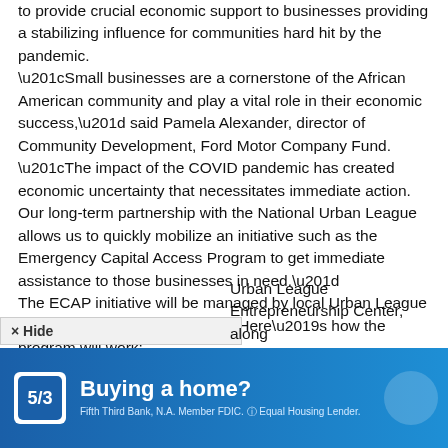to provide crucial economic support to businesses providing a stabilizing influence for communities hard hit by the pandemic. “Small businesses are a cornerstone of the African American community and play a vital role in their economic success,” said Pamela Alexander, director of Community Development, Ford Motor Company Fund. “The impact of the COVID pandemic has created economic uncertainty that necessitates immediate action. Our long-term partnership with the National Urban League allows us to quickly mobilize an initiative such as the Emergency Capital Access Program to get immediate assistance to those businesses in need.” The ECAP initiative will be managed by local Urban League officials in each of the six cities. Here’s how the program will work:
× Hide
Urban League Entrepreneurship Center, along
[Figure (other): Advertisement banner for Fifth Third Bank: 'Buying a home?' with bank logo, blue gradient background, and text 'Fifth Third Bank, N.A. Member FDIC. Equal Housing Lender.']